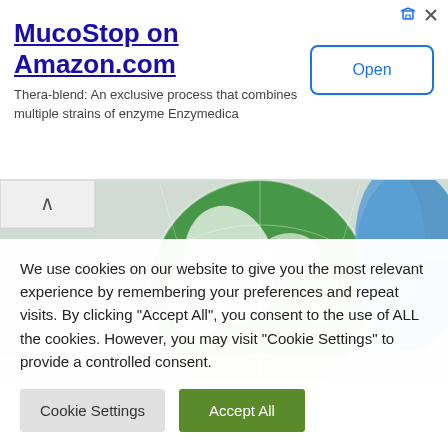MucoStop on Amazon.com
Thera-blend: An exclusive process that combines multiple strains of enzyme Enzymedica
Open
[Figure (photo): A gloved hand holding a green glass globe in a laboratory setting, with lab equipment in the background.]
We use cookies on our website to give you the most relevant experience by remembering your preferences and repeat visits. By clicking "Accept All", you consent to the use of ALL the cookies. However, you may visit "Cookie Settings" to provide a controlled consent.
Cookie Settings | Accept All